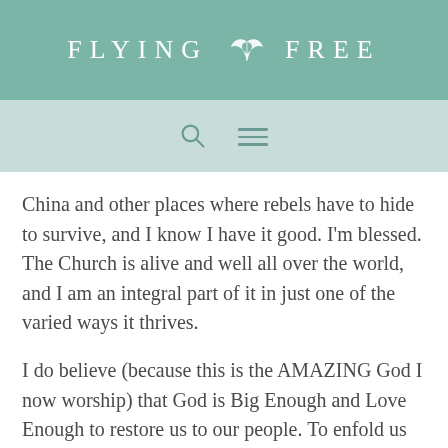FLYING FREE
China and other places where rebels have to hide to survive, and I know I have it good. I'm blessed. The Church is alive and well all over the world, and I am an integral part of it in just one of the varied ways it thrives.
I do believe (because this is the AMAZING God I now worship) that God is Big Enough and Love Enough to restore us to our people. To enfold us back into FAMILY.
I don't think it will happen here on this planet. Too much smoke and mirrors. People can't see